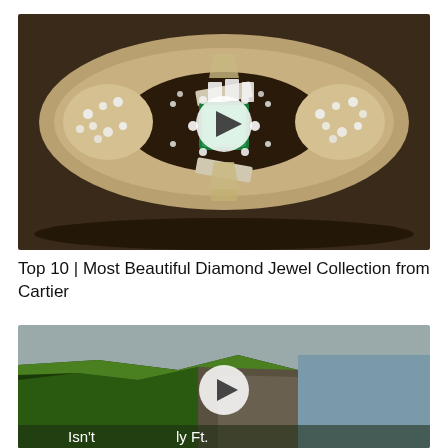[Figure (photo): A luxurious diamond and emerald Cartier bracelet/bangle with intricate filigree metalwork. A large rectangular green emerald is set in the center, surrounded by numerous round and baguette-cut diamonds. A video play button (white circle with triangle) is overlaid in the center.]
Top 10 | Most Beautiful Diamond Jewel Collection from Cartier
[Figure (photo): Aerial view of green cliffs by the ocean (resembling Cliffs of Moher or similar coastal landscape). A video play button is overlaid in the center. Partial text at bottom reads 'Isn't   ly Ft.']